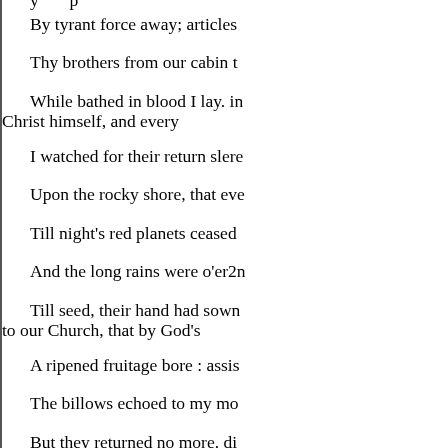By tyrant force away; articles
Thy brothers from our cabin t
While bathed in blood I lay. in Christ himself, and every
I watched for their return slere
Upon the rocky shore, that eve
Till night's red planets ceased
And the long rains were o'er2n
Till seed, their hand had sown to our Church, that by God's
A ripened fruitage bore : assis
The billows echoed to my mo
But they returned no more. di
Yet thou art slumbering deep;
And to my wildest cry, other,
When vexed with agony I wee
Dost render no reply. tion, and
Daughter! my youthful pride